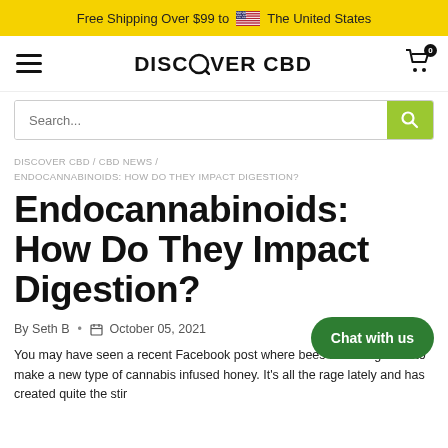Free Shipping Over $99 to 🇺🇸 The United States
[Figure (logo): Discover CBD brand logo with hamburger menu and cart icon]
Search...
DISCOVER CBD / CBD NEWS / ENDOCANNABINOIDS: HOW DO THEY IMPACT DIGESTION?
Endocannabinoids: How Do They Impact Digestion?
By Seth B • October 05, 2021
You may have seen a recent Facebook post where bees are being used to make a new type of cannabis infused honey. It's all the rage lately and has created quite the stir...